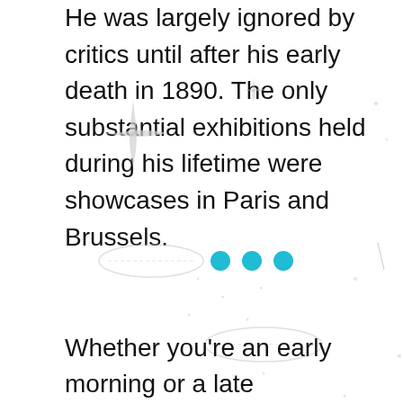He was largely ignored by critics until after his early death in 1890. The only substantial exhibitions held during his lifetime were showcases in Paris and Brussels.
[Figure (illustration): Decorative page elements including sparkle/star shapes, small dots, pill/oval outlines, three teal circles, and a diagonal line — UI loading or decorative overlay artifacts on a white background]
Whether you're an early morning or a late